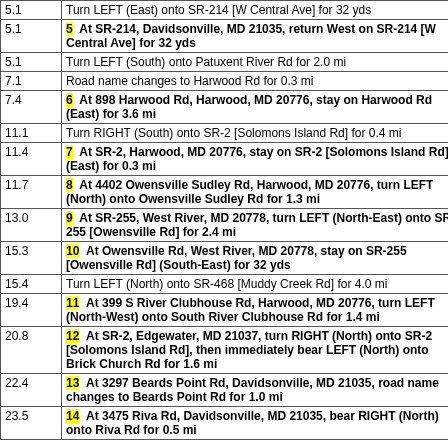| Distance | Direction |
| --- | --- |
| 5.1 | Turn LEFT (East) onto SR-214 [W Central Ave] for 32 yds |
| 5.1 | 5  At SR-214, Davidsonville, MD 21035, return West on SR-214 [W Central Ave] for 32 yds |
| 5.1 | Turn LEFT (South) onto Patuxent River Rd for 2.0 mi |
| 7.1 | Road name changes to Harwood Rd for 0.3 mi |
| 7.4 | 6  At 898 Harwood Rd, Harwood, MD 20776, stay on Harwood Rd (East) for 3.6 mi |
| 11.1 | Turn RIGHT (South) onto SR-2 [Solomons Island Rd] for 0.4 mi |
| 11.4 | 7  At SR-2, Harwood, MD 20776, stay on SR-2 [Solomons Island Rd] (East) for 0.3 mi |
| 11.7 | 8  At 4402 Owensville Sudley Rd, Harwood, MD 20776, turn LEFT (North) onto Owensville Sudley Rd for 1.3 mi |
| 13.0 | 9  At SR-255, West River, MD 20778, turn LEFT (North-East) onto SR-255 [Owensville Rd] for 2.4 mi |
| 15.3 | 10  At Owensville Rd, West River, MD 20778, stay on SR-255 [Owensville Rd] (South-East) for 32 yds |
| 15.4 | Turn LEFT (North) onto SR-468 [Muddy Creek Rd] for 4.0 mi |
| 19.4 | 11  At 399 S River Clubhouse Rd, Harwood, MD 20776, turn LEFT (North-West) onto South River Clubhouse Rd for 1.4 mi |
| 20.8 | 12  At SR-2, Edgewater, MD 21037, turn RIGHT (North) onto SR-2 [Solomons Island Rd], then immediately bear LEFT (North) onto Brick Church Rd for 1.6 mi |
| 22.4 | 13  At 3297 Beards Point Rd, Davidsonville, MD 21035, road name changes to Beards Point Rd for 1.0 mi |
| 23.5 | 14  At 3475 Riva Rd, Davidsonville, MD 21035, bear RIGHT (North) onto Riva Rd for 0.5 mi |